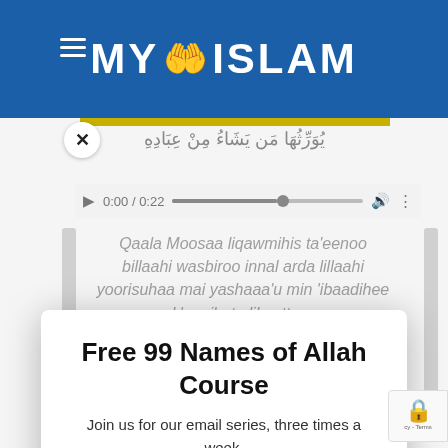MY ISLAM
[Figure (screenshot): Audio player showing 0:00 / 0:22 with progress bar, volume and more icons]
Qaala Moosaa liqawmihis ta'eenoo billaahi wasbiroo innal arda lillaahi yoorisuhaa mai yashaaa'u min 'ibaadihee wal 'aaqibatu lilmuttaqoon
Free 99 Names of Allah Course
Join us for our email series, three times a week.
ENGLISH TRANSLATION
Here you can read various translations i